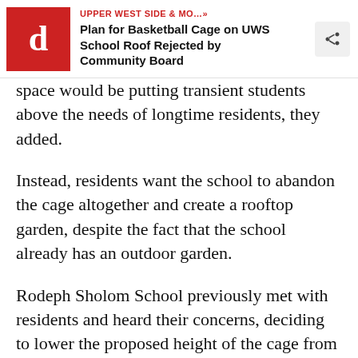UPPER WEST SIDE & MO...» Plan for Basketball Cage on UWS School Roof Rejected by Community Board
space would be putting transient students above the needs of longtime residents, they added.
Instead, residents want the school to abandon the cage altogether and create a rooftop garden, despite the fact that the school already has an outdoor garden.
Rodeph Sholom School previously met with residents and heard their concerns, deciding to lower the proposed height of the cage from 25 feet to 20 feet, Karpf said. The lower height still leaves room for basketball, he said.
But the reduction doesn't go far enough, board members said.
The school's goal of creating more space for outdoor play